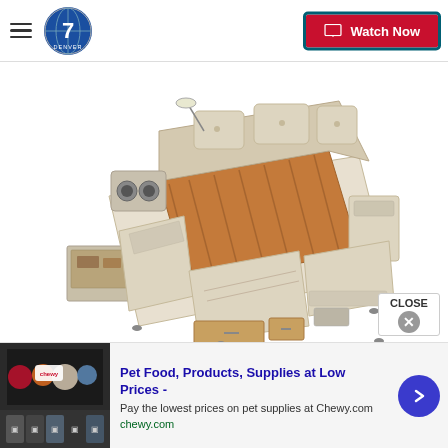Denver7 – Watch Now
[Figure (photo): A multifunctional bed with built-in speakers, recliner chair, storage drawers, massage features, and wood-slat base, shown from an isometric perspective against a white background]
CLOSE
[Figure (screenshot): Advertisement banner: Chewy.com pet food ad with product images on the left, bold blue headline 'Pet Food, Products, Supplies at Low Prices -', description text 'Pay the lowest prices on pet supplies at Chewy.com', green URL 'chewy.com', and a blue circular arrow button on the right]